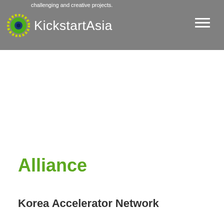challenging and creative projects. KickstartAsia
Alliance
Korea Accelerator Network